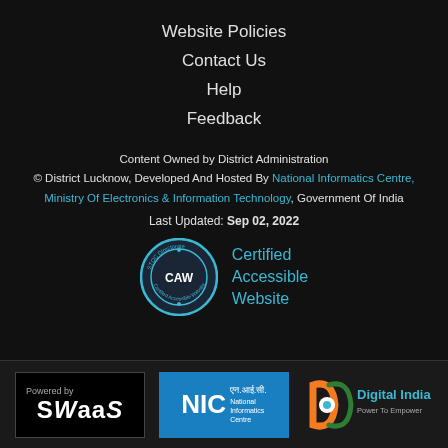Website Policies
Contact Us
Help
Feedback
Content Owned by District Administration
© District Lucknow, Developed And Hosted By National Informatics Centre, Ministry Of Electronics & Information Technology, Government Of India
Last Updated: Sep 02, 2022
[Figure (logo): CAW Certified Accessible Website badge with text 'Certified Accessible Website']
[Figure (logo): Powered by SWaaS logo]
[Figure (logo): NIC National Informatics Centre logo]
[Figure (logo): Digital India Power To Empower logo]